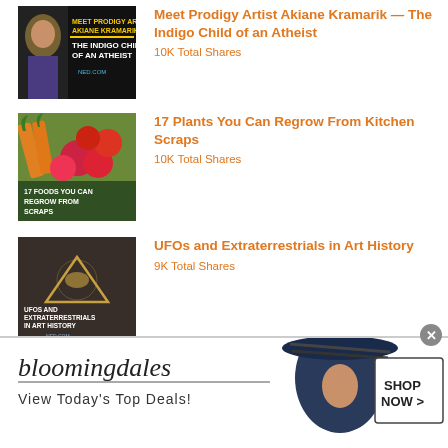[Figure (illustration): Book cover for 'The Indigo Child of an Atheist' with a girl and yellow/black text]
Meet Prodigy Artist Akiane Kramarik — The Indigo Child of an Atheist
10K Total Shares
[Figure (photo): Photo of vegetables including carrots, radishes and tomatoes with overlaid text '17 Foods You Can Regrow From Scraps']
17 Plants You Can Regrow From Kitchen Scraps
10K Total Shares
[Figure (illustration): Dark image with UFO/triangle shape and text 'UFOs and Extraterrestrials in Art History']
UFOs and Extraterrestrials in Art History
9K Total Shares
[Figure (screenshot): Bloomingdale's advertisement banner reading 'View Today's Top Deals!' with a woman in a large hat and 'SHOP NOW >' button]